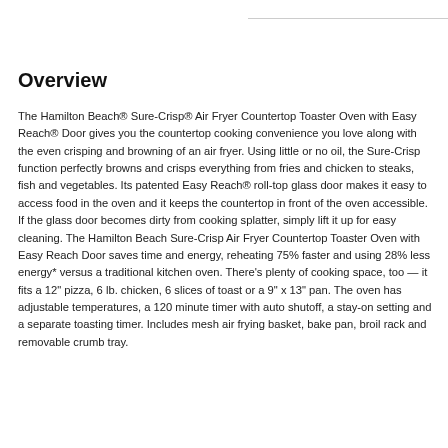Overview
The Hamilton Beach® Sure-Crisp® Air Fryer Countertop Toaster Oven with Easy Reach® Door gives you the countertop cooking convenience you love along with the even crisping and browning of an air fryer. Using little or no oil, the Sure-Crisp function perfectly browns and crisps everything from fries and chicken to steaks, fish and vegetables. Its patented Easy Reach® roll-top glass door makes it easy to access food in the oven and it keeps the countertop in front of the oven accessible. If the glass door becomes dirty from cooking splatter, simply lift it up for easy cleaning. The Hamilton Beach Sure-Crisp Air Fryer Countertop Toaster Oven with Easy Reach Door saves time and energy, reheating 75% faster and using 28% less energy* versus a traditional kitchen oven. There's plenty of cooking space, too — it fits a 12" pizza, 6 lb. chicken, 6 slices of toast or a 9" x 13" pan. The oven has adjustable temperatures, a 120 minute timer with auto shutoff, a stay-on setting and a separate toasting timer. Includes mesh air frying basket, bake pan, broil rack and removable crumb tray.